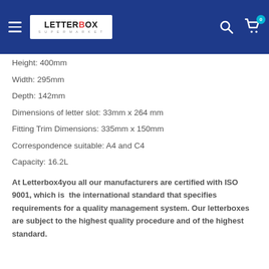Letterbox Supermarket – navigation header with logo, search, and cart icons
Height: 400mm
Width: 295mm
Depth: 142mm
Dimensions of letter slot: 33mm x 264 mm
Fitting Trim Dimensions: 335mm x 150mm
Correspondence suitable: A4 and C4
Capacity: 16.2L
At Letterbox4you all our manufacturers are certified with ISO 9001, which is the international standard that specifies requirements for a quality management system. Our letterboxes are subject to the highest quality procedure and of the highest standard.